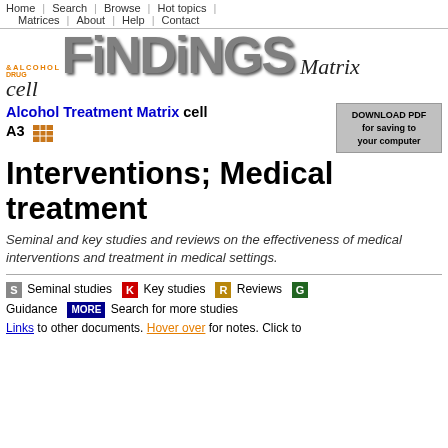Home | Search | Browse | Hot topics | Matrices | About | Help | Contact
[Figure (logo): Drug & Alcohol Findings Matrix cell logo with large 3D grey FINDINGS text and italic Matrix cell text]
Alcohol Treatment Matrix cell A3
[Figure (other): DOWNLOAD PDF for saving to your computer button]
Interventions; Medical treatment
Seminal and key studies and reviews on the effectiveness of medical interventions and treatment in medical settings.
S Seminal studies  K Key studies  R Reviews  G Guidance  MORE Search for more studies
Links to other documents. Hover over for notes. Click to